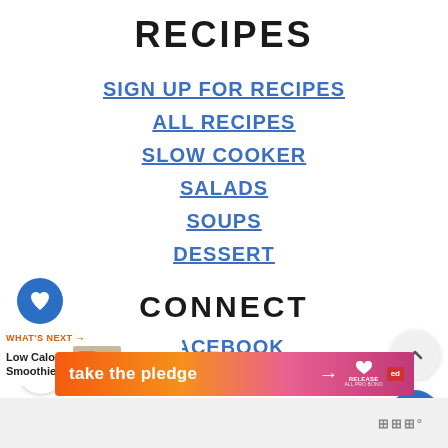RECIPES
SIGN UP FOR RECIPES
ALL RECIPES
SLOW COOKER
SALADS
SOUPS
DESSERT
CONNECT
FACEBOOK
PINTEREST
INSTAGRAM
TWITTER
2.1K
WHAT'S NEXT → Low Calorie Smoothie...
[Figure (other): take the pledge advertisement banner with gradient orange-pink background, Release logo, and Ed logo]